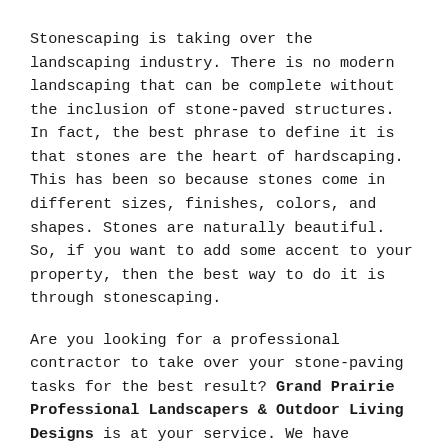Stonescaping is taking over the landscaping industry. There is no modern landscaping that can be complete without the inclusion of stone-paved structures. In fact, the best phrase to define it is that stones are the heart of hardscaping. This has been so because stones come in different sizes, finishes, colors, and shapes. Stones are naturally beautiful. So, if you want to add some accent to your property, then the best way to do it is through stonescaping.
Are you looking for a professional contractor to take over your stone-paving tasks for the best result? Grand Prairie Professional Landscapers & Outdoor Living Designs is at your service. We have professional landscapers who are detail-oriented and are possessed by seeking for perfection. We are always to please customers that we meet and build trust and a good relationship with them. We have decades of experience that will make us turn that rough idea which you have into a reality.